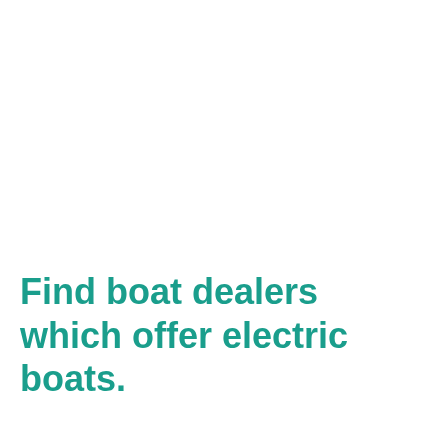Find boat dealers which offer electric boats.